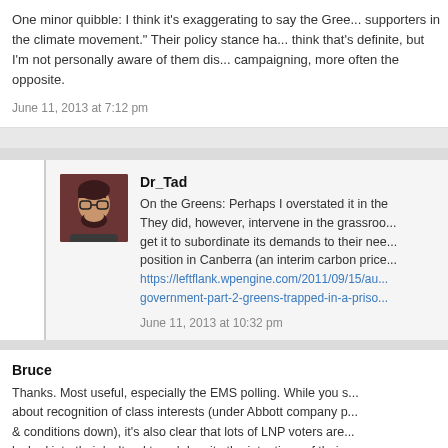One minor quibble: I think it's exaggerating to say the Greens are "the main supporters in the climate movement." Their policy stance has... think that's definite, but I'm not personally aware of them dis... campaigning, more often the opposite.
June 11, 2013 at 7:12 pm
Dr_Tad
On the Greens: Perhaps I overstated it in the... They did, however, intervene in the grassroo... get it to subordinate its demands to their nee... position in Canberra (an interim carbon price... https://leftflank.wpengine.com/2011/09/15/au... government-part-2-greens-trapped-in-a-priso...
June 11, 2013 at 10:32 pm
Bruce
Thanks. Most useful, especially the EMS polling. While you s... about recognition of class interests (under Abbott company p... & conditions down), it's also clear that lots of LNP voters are... locked into their 'cultural team' despite the intentions of their... done nothing to speak to that. That's the great challenge for... ...and also class-based activism like trade unions...